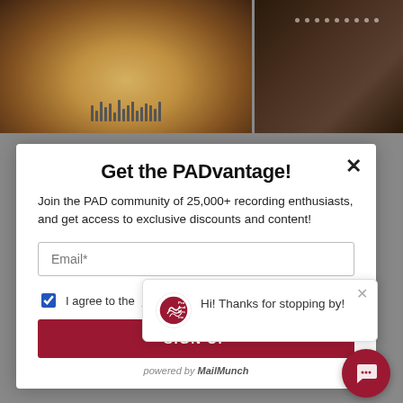[Figure (photo): Background showing recording studio interior with ceiling panels and lighting]
Get the PADvantage!
Join the PAD community of 25,000+ recording enthusiasts, and get access to exclusive discounts and content!
Email*
I agree to the Terms
SIGN UP
powered by MailMunch
[Figure (screenshot): Chat popup with Pro Audio Design logo and text 'Hi! Thanks for stopping by!']